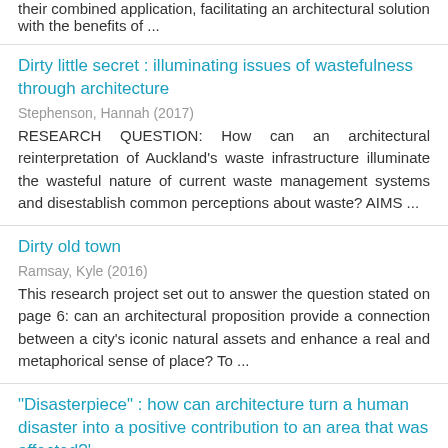their combined application, facilitating an architectural solution with the benefits of ...
Dirty little secret : illuminating issues of wastefulness through architecture
Stephenson, Hannah (2017)
RESEARCH QUESTION: How can an architectural reinterpretation of Auckland's waste infrastructure illuminate the wasteful nature of current waste management systems and disestablish common perceptions about waste? AIMS ...
Dirty old town
Ramsay, Kyle (2016)
This research project set out to answer the question stated on page 6: can an architectural proposition provide a connection between a city's iconic natural assets and enhance a real and metaphorical sense of place? To ...
"Disasterpiece" : how can architecture turn a human disaster into a positive contribution to an area that was affected?'
Baxter, Kyle (2015)
Human disasters are a fact of life and can cause catastrophic